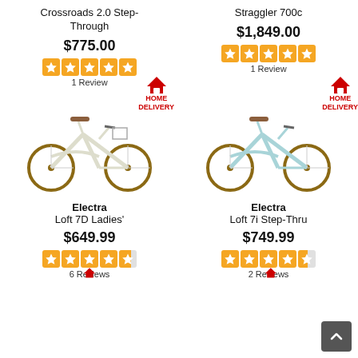Crossroads 2.0 Step-Through
$775.00
1 Review
[Figure (illustration): Cream/white step-through city bicycle with brown leather saddle and handlebar grips, front basket]
Straggler 700c
$1,849.00
1 Review
[Figure (illustration): Light blue step-through city bicycle with brown leather saddle and handlebar grips]
Electra Loft 7D Ladies'
$649.99
6 Reviews
Electra Loft 7i Step-Thru
$749.99
2 Reviews